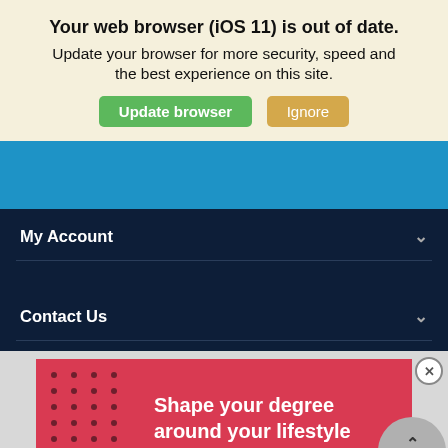Your web browser (iOS 11) is out of date. Update your browser for more security, speed and the best experience on this site.
[Figure (screenshot): Two buttons: green 'Update browser' and tan/gold 'Ignore']
[Figure (screenshot): Blue header bar of a website]
My Account
Contact Us
[Figure (infographic): Red advertisement banner with dot grid pattern on left and white bold text 'Shape your degree around your lifestyle'. A gray circular 'Top' button overlaps the bottom-right corner. A close (X) button appears at top right of the gray area.]